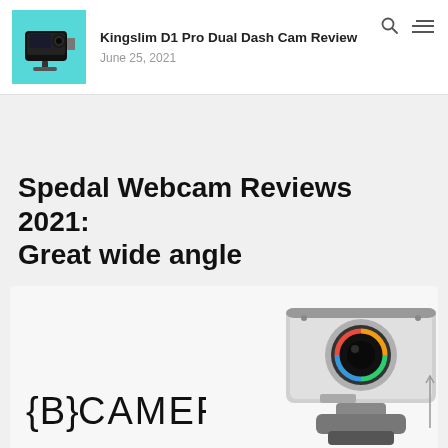Kingslim D1 Pro Dual Dash Cam Review — June 25, 2021
Spedal Webcam Reviews 2021: Great wide angle
[Figure (photo): Spedal webcam product image with BCAMERA logo watermark at bottom left and a Spedal wide-angle webcam on a stand at bottom right]